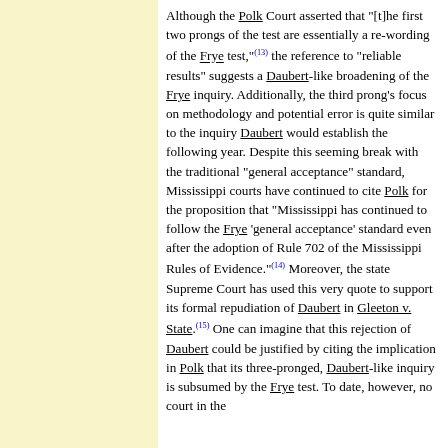Although the Polk Court asserted that "[t]he first two prongs of the test are essentially a re-wording of the Frye test,"(13) the reference to "reliable results" suggests a Daubert-like broadening of the Frye inquiry. Additionally, the third prong's focus on methodology and potential error is quite similar to the inquiry Daubert would establish the following year. Despite this seeming break with the traditional "general acceptance" standard, Mississippi courts have continued to cite Polk for the proposition that "Mississippi has continued to follow the Frye 'general acceptance' standard even after the adoption of Rule 702 of the Mississippi Rules of Evidence."(14) Moreover, the state Supreme Court has used this very quote to support its formal repudiation of Daubert in Gleeton v. State.(15) One can imagine that this rejection of Daubert could be justified by citing the implication in Polk that its three-pronged, Daubert-like inquiry is subsumed by the Frye test. To date, however, no court in the